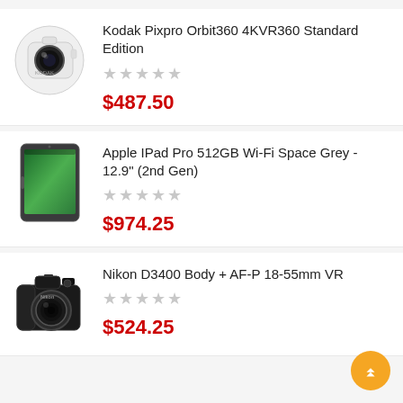Kodak Pixpro Orbit360 4KVR360 Standard Edition
★★★★★
$487.50
Apple IPad Pro 512GB Wi-Fi Space Grey - 12.9" (2nd Gen)
★★★★★
$974.25
Nikon D3400 Body + AF-P 18-55mm VR
★★★★★
$524.25